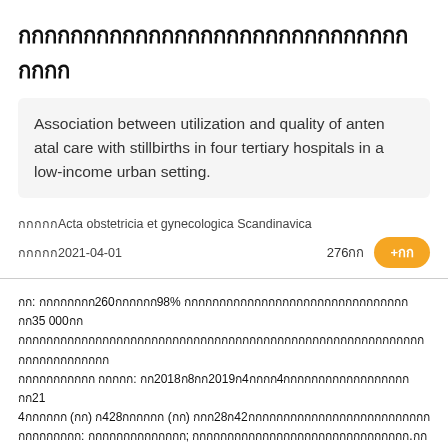กกกกกกกกกกกกกกกกกกกกกกกกกกกกกกกกกก
Association between utilization and quality of antenatal care with stillbirths in four tertiary hospitals in a low-income urban setting.
วารสาร Acta obstetricia et gynecologica Scandinavica
เผยแพร่ 2021-04-01   276 อ้าง   +อ่าน
บท: กกกกกกก260กกกกก98% กกกกกกกกกกกกกกกกกกกกกกกกกกกกกก35 000กก กกกกกกกกกกกกกกกกกกกกกกกกกกกกกกกกกกกกกกกกกกกกกกกกกกกกกกกกกกกกกกก กกกกกกกกกกก กกกกก: กก2018ก8กก2019ก4กกกก4กกกกกกกกกกกกกกกกกกกก21 4กกกกกก (กก) ก428กกกกกก (กก) กกก28ก42กกกกกกกกกกกกกกกกกกกกกกก กกกกกกกกก: กกกกกกกกกกกกกก; กกกกกกกกกกกกกกกกกกกกกกกกกกกกกกก.กกกกกกกกกก กกกกกกกกกก (กกกกกกกกกกกกกกก/กก/กกกกกกกกกกกกกกกกกกกกกกกก) กกกกกกก